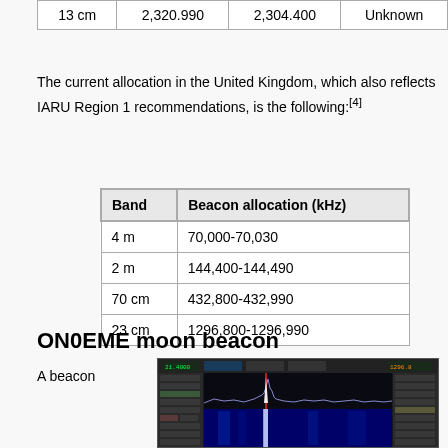|  |  |  |  |
| --- | --- | --- | --- |
| 13 cm | 2,320.990 | 2,304.400 | Unknown |
The current allocation in the United Kingdom, which also reflects IARU Region 1 recommendations, is the following:[4]
| Band | Beacon allocation (kHz) |
| --- | --- |
| 4 m | 70,000-70,030 |
| 2 m | 144,400-144,490 |
| 70 cm | 432,800-432,990 |
| 23 cm | 1296,800-1296,990 |
ON0EME moon beacon
A beacon
[Figure (screenshot): SDR# software screenshot showing a spectrum display with a beacon signal, waterfall display in blue below.]